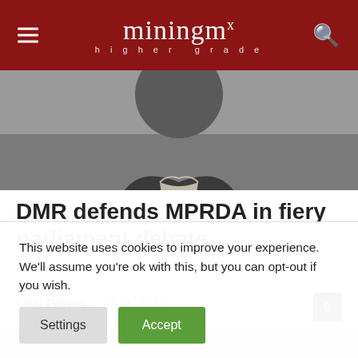miningmx – higher grade
[Figure (photo): Cropped photo of a person in a dark jacket, visible from shoulders up against a light background]
DMR defends MPRDA in fiery parliament debate
Liesl Peyper · Jul 31, 2013
[Figure (photo): Partial photo visible below the article byline, light beige/cream background with partial figure]
This website uses cookies to improve your experience. We'll assume you're ok with this, but you can opt-out if you wish.